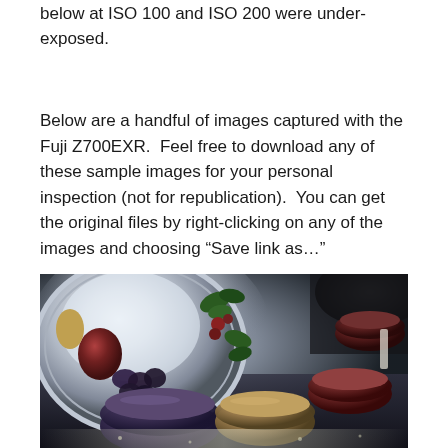below at ISO 100 and ISO 200 were under-exposed.
Below are a handful of images captured with the Fuji Z700EXR.  Feel free to download any of these sample images for your personal inspection (not for republication).  You can get the original files by right-clicking on any of the images and choosing “Save link as…”
[Figure (photo): Indoor photo of ceramic bowls and a decorative plate with fruit motifs on a dark surface, taken with Fuji Z700EXR. The image shows several dark-colored ceramic mugs/bowls (purple, tan, dark red) arranged on what appears to be a decorative ceramic tray with raised fruit and leaf designs, backlit by a bright window.]